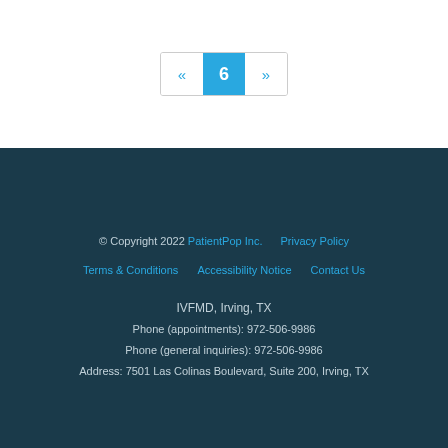« 6 »
© Copyright 2022 PatientPop Inc.    Privacy Policy    Terms & Conditions    Accessibility Notice    Contact Us    IVFMD, Irving, TX    Phone (appointments): 972-506-9986    Phone (general inquiries): 972-506-9986    Address: 7501 Las Colinas Boulevard, Suite 200, Irving, TX